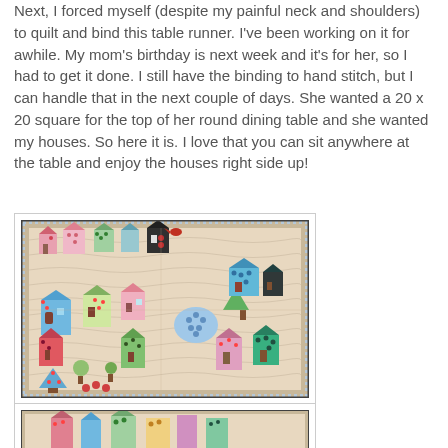Next, I forced myself (despite my painful neck and shoulders) to quilt and bind this table runner. I've been working on it for awhile. My mom's birthday is next week and it's for her, so I had to get it done. I still have the binding to hand stitch, but I can handle that in the next couple of days. She wanted a 20 x 20 square for the top of her round dining table and she wanted my houses. So here it is. I love that you can sit anywhere at the table and enjoy the houses right side up!
[Figure (photo): A quilted table runner with colorful house blocks arranged on a cream/beige background with decorative quilting stitches. The houses are made from various patterned fabrics in pink, blue, green, black, and red. The quilt has a border of small polka dots.]
[Figure (photo): Partial view of another quilt or the same quilt from a different angle, showing colorful fabric pieces.]